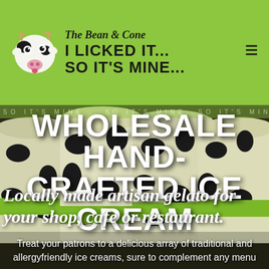The Bean & Cone — I LICKED IT... SO IT'S MINE...
[Figure (photo): Hero image showing stacked gelato tubs with cow print design in green and black, branded with 'The Bean & Cone I LICKED IT... SO IT'S MINE...' text]
WHOLESALE HAND-CRAFTED ICE CREAM
Locally made artisan gelato for your shop, cafe or restaurant.
Treat your patrons to a delicious array of traditional and allergyfriendly ice creams, sure to complement any menu